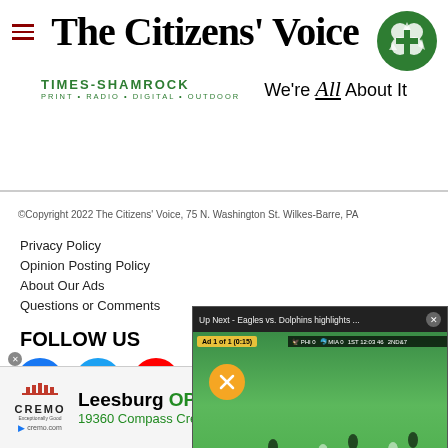The Citizens' Voice
[Figure (logo): Times-Shamrock green shamrock/recycling logo circle]
TIMES-SHAMROCK
PRINT • RADIO • DIGITAL • OUTDOOR
We're All About It
© Copyright 2022 The Citizens' Voice, 75 N. Washington St. Wilkes-Barre, PA
Privacy Policy
Opinion Posting Policy
About Our Ads
Questions or Comments
FOLLOW US
[Figure (illustration): Social media icons: Facebook (blue), Twitter (light blue), YouTube (red), Instagram (beige/tan)]
[Figure (screenshot): Video popup: Up Next - Eagles vs. Dolphins highlights ... with Ad 1 of 1 (0:15) badge, mute button, football field scene]
[Figure (illustration): Advertisement banner: Cremo logo, Leesburg OPEN 6AM-11PM, 19360 Compass Creek Parkway..., navigation icon]